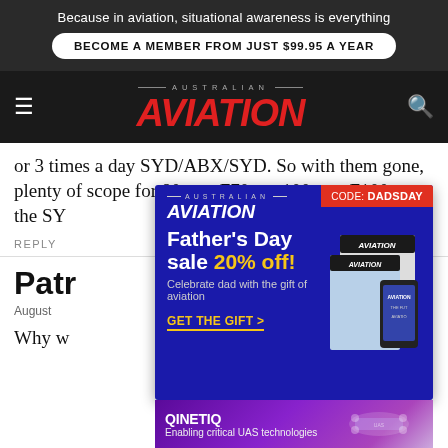Because in aviation, situational awareness is everything
BECOME A MEMBER FROM JUST $99.95 A YEAR
AUSTRALIAN AVIATION
or 3 times a day SYD/ABX/SYD. So with them gone, plenty of scope for 80 seat F70s or 100 seat F100s on the SY
REPLY
Patr
August
Why w n this
[Figure (infographic): Australian Aviation Father's Day sale advertisement overlay: CODE: DADSDAY badge in red, Aviation logo, Father's Day sale 20% off headline in white and yellow, Celebrate dad with the gift of aviation subtext, GET THE GIFT call to action in yellow, magazine images on right side]
[Figure (infographic): QinetiQ advertisement strip: QINETIQ logo in white on purple gradient background, Enabling critical UAS technologies tagline, drone/UAS imagery on right]